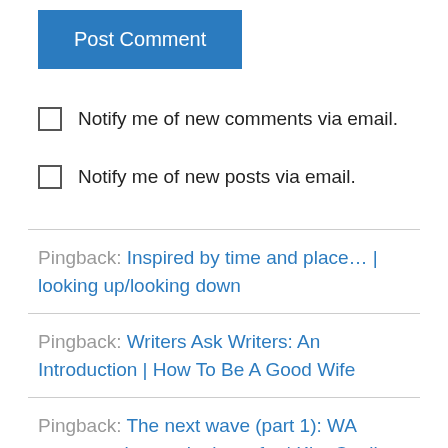Post Comment
Notify me of new comments via email.
Notify me of new posts via email.
Pingback: Inspired by time and place… | looking up/looking down
Pingback: Writers Ask Writers: An Introduction | How To Be A Good Wife
Pingback: The next wave (part 1): WA women writers to look out for | Kim Coull